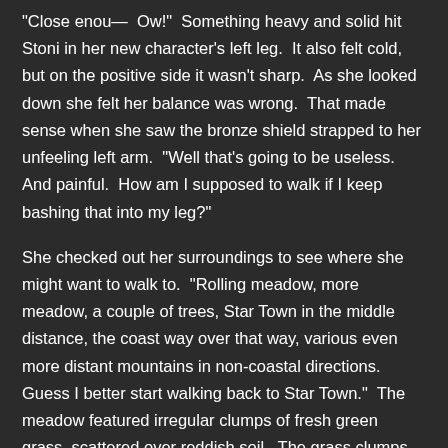"Close enou—  Ow!"  Something heavy and solid hit Stoni in her new character's left leg.  It also felt cold, but on the positive side it wasn't sharp.  As she looked down she felt her balance was wrong.  That made sense when she saw the bronze shield strapped to her unfeeling left arm.  "Well that's going to be useless.  And painful.  How am I supposed to walk if I keep bashing that into my leg?"
She checked out her surroundings to see where she might want to walk to.  "Rolling meadow, more meadow, a couple of trees, Star Town in the middle distance, the coast way over that way, various even more distant mountains in non-coastal directions.  Guess I better start walking back to Star Town."  The meadow featured irregular clumps of fresh green grass, scattered over reddish soil.  The grass clumps were tall and solid enough that stepping over them would be difficult.  They were essentially